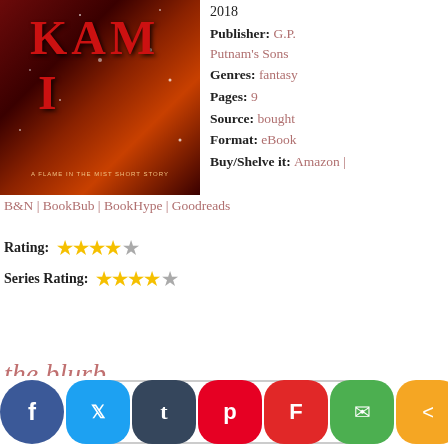[Figure (illustration): Book cover showing 'KAMI A Flame in the Mist Short Story' with red fiery background and stars]
2018
Publisher: G.P. Putnam's Sons
Genres: fantasy
Pages: 9
Source: bought
Format: eBook
Buy/Shelve it: Amazon | B&N | BookBub | BookHype | Goodreads
Rating: ★★★★☆
Series Rating: ★★★★☆
the blurb
[Figure (screenshot): Social media sharing buttons: Facebook, Twitter, Tumblr, Pinterest, Flipboard, Email, Share]